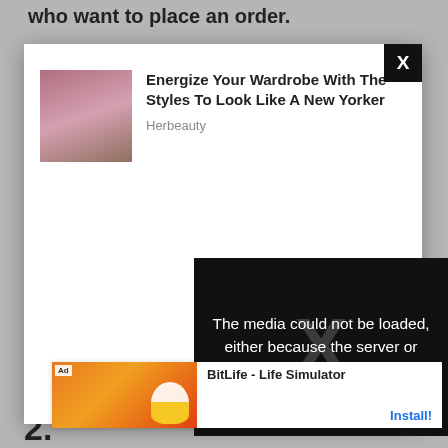who want to place an order.
The app is fantastic and quite simple to use, allowing...
[Figure (screenshot): White modal ad overlay with close X button in top-right corner. Contains thumbnail image of woman in pink outfit and ad text: 'Energize Your Wardrobe With The Styles To Look Like A New Yorker' from Herbeauty.]
[Figure (screenshot): Black overlay panel showing media error message: 'The media could not be loaded, either because the server or network failed or because the' with large X icon.]
[Figure (screenshot): Bottom ad banner for BitLife - Life Simulator with orange/red game graphic on left and Install button on right.]
2.